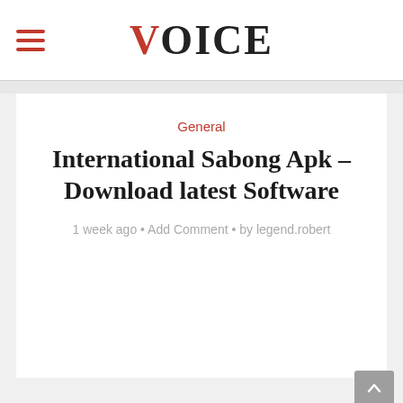VOICE
General
International Sabong Apk – Download latest Software
1 week ago • Add Comment • by legend.robert